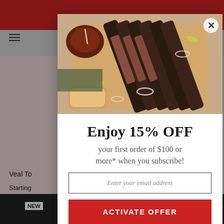[Figure (screenshot): Background of an e-commerce website showing a red top bar, navigation bar with hamburger menu and cart icon, and partially visible product images on left and right sides with 'Veal To...' text and star ratings. A dark overlay covers the background.]
[Figure (photo): Food photo showing sliced BBQ brisket on a wooden cutting board with pickled peppers, onion rings, a cup of sauce, and bread in the background.]
Enjoy 15% OFF
your first order of $100 or more* when you subscribe!
Enter your email address
ACTIVATE OFFER
No Thank You